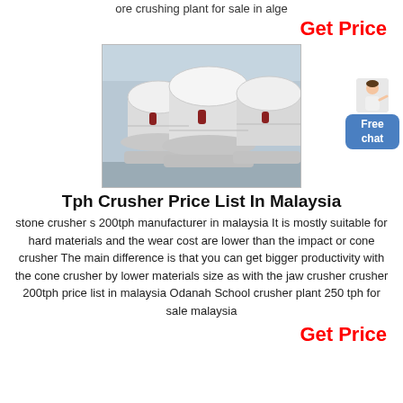ore crushing plant for sale in alge
Get Price
[Figure (photo): Photo of large white cone crushers in a factory/industrial setting]
Free chat
Tph Crusher Price List In Malaysia
stone crusher s 200tph manufacturer in malaysia It is mostly suitable for hard materials and the wear cost are lower than the impact or cone crusher The main difference is that you can get bigger productivity with the cone crusher by lower materials size as with the jaw crusher crusher 200tph price list in malaysia Odanah School crusher plant 250 tph for sale malaysia
Get Price